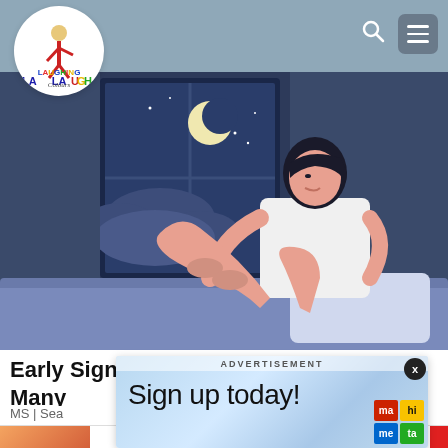[Figure (logo): Laughing Colours website logo - colorful figure with LAUGHING Colours text in a white circle]
[Figure (illustration): Illustration of a man sitting on a bed at night, holding his leg, with a moon visible through a window - depicting restless leg syndrome or multiple sclerosis symptom]
Early Signs Of Multiple Sclerosis (MS) Many...
MS | Sea...
[Figure (screenshot): Advertisement overlay showing 'Sign up today!' text on a blue geometric background with colorful logo tiles]
[Figure (photo): Partial thumbnail image visible at bottom left corner]